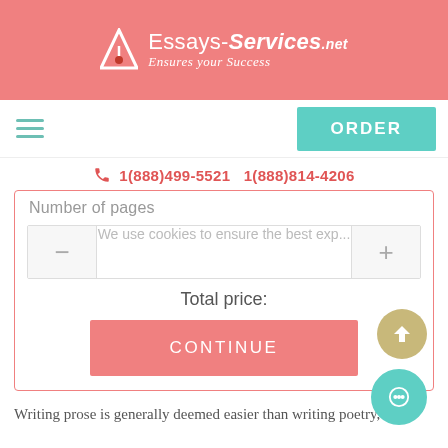[Figure (logo): Essays-Services.net logo with pink/red header banner, pen nib icon, and tagline 'Ensures your Success']
1(888)499-5521  1(888)814-4206
Number of pages
We use cookies to ensure...
Total price:
CONTINUE
Writing prose is generally deemed easier than writing poetry,